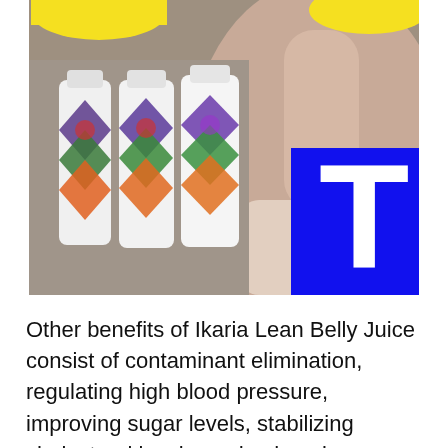[Figure (photo): Product photo showing multiple white bottles of Ikaria Lean Belly Juice with colorful triangular label designs, positioned in front of a person wearing a light top, with yellow banana shapes at the top and a blue block with white letter T on the right side.]
Other benefits of Ikaria Lean Belly Juice consist of contaminant elimination, regulating high blood pressure, improving sugar levels, stabilizing cholesterol levels, and enhancing resistance.